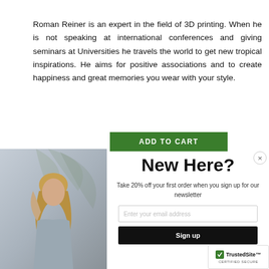Roman Reiner is an expert in the field of 3D printing. When he is not speaking at international conferences and giving seminars at Universities he travels the world to get new tropical inspirations. He aims for positive associations and to create happiness and great memories you wear with your style.
[Figure (screenshot): Green ADD TO CART button partially visible at top of modal popup]
[Figure (photo): Modal popup overlay with photo of a blonde woman in a grey top against a palm-leaf background on the left side, and newsletter signup form on the right]
New Here?
Take 20% off your first order when you sign up for our newsletter
Sign up